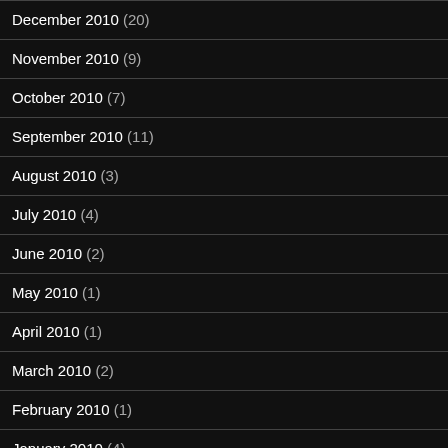December 2010 (20)
November 2010 (9)
October 2010 (7)
September 2010 (11)
August 2010 (3)
July 2010 (4)
June 2010 (2)
May 2010 (1)
April 2010 (1)
March 2010 (2)
February 2010 (1)
January 2010 (4)
December 2009 (1)